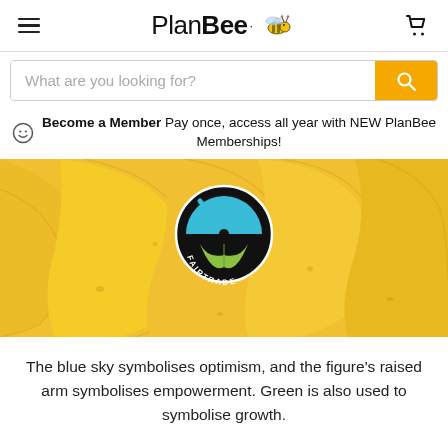PlanBee
What are you looking for?
Become a Member Pay once, access all year with NEW PlanBee Memberships!
[Figure (photo): Close-up photo of yellow bananas with a Fairtrade certification sticker/logo on them. The Fairtrade logo shows a circular black badge with a blue sky, a green figure with a raised arm, and the word FAIRTRADE around the bottom.]
The blue sky symbolises optimism, and the figure's raised arm symbolises empowerment. Green is also used to symbolise growth.